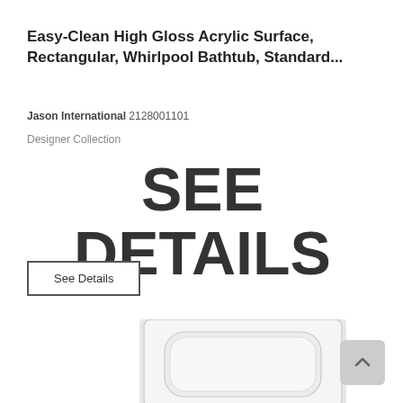Easy-Clean High Gloss Acrylic Surface, Rectangular, Whirlpool Bathtub, Standard...
Jason International 2128001101
Designer Collection
[Figure (other): Large bold text overlay reading 'SEE DETAILS']
See Details
[Figure (photo): Partial product photo of a white rectangular whirlpool bathtub from above, showing the tub interior]